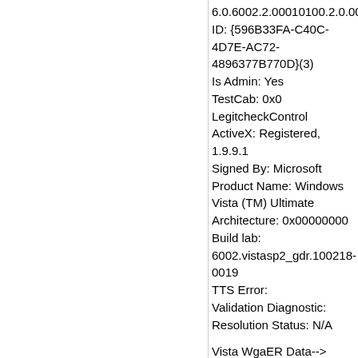6.0.6002.2.00010100.2.0.001
ID: {596B33FA-C40C-4D7E-AC72-4896377B770D}(3)
Is Admin: Yes
TestCab: 0x0
LegitcheckControl ActiveX: Registered, 1.9.9.1
Signed By: Microsoft
Product Name: Windows Vista (TM) Ultimate
Architecture: 0x00000000
Build lab: 6002.vistasp2_gdr.100218-0019
TTS Error:
Validation Diagnostic:
Resolution Status: N/A
Vista WgaER Data-->
ThreatID(s): N/A, hr = 0x80070002
Version: N/A, hr = 0x80070002
Windows XP Notifications Data-->
Cached Result: N/A, hr = 0x80070002
File Exists: No
Version: N/A, hr = 0x80070002
WgaTray.exe Signed By: N/A, hr = 0x80070002
WgaLogon.dll Signed By: N/A, hr =